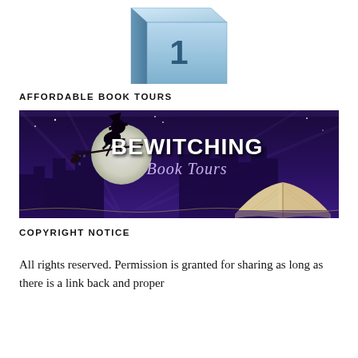[Figure (illustration): Partial view of a blue book cover with a number '1' visible, cropped at the top of the page]
AFFORDABLE BOOK TOURS
[Figure (illustration): Bewitching Book Tours banner image with a witch silhouette flying on a broomstick in front of a full moon over a city skyline at night, with an open book in the foreground]
COPYRIGHT NOTICE
All rights reserved. Permission is granted for sharing as long as there is a link back and proper